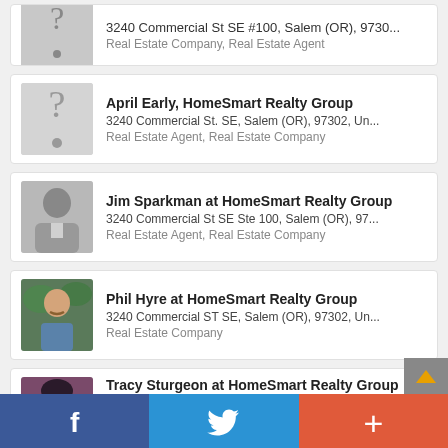3240 Commercial St SE #100, Salem (OR), 9730... | Real Estate Company, Real Estate Agent
April Early, HomeSmart Realty Group | 3240 Commercial St. SE, Salem (OR), 97302, Un... | Real Estate Agent, Real Estate Company
Jim Sparkman at HomeSmart Realty Group | 3240 Commercial St SE Ste 100, Salem (OR), 97... | Real Estate Agent, Real Estate Company
Phil Hyre at HomeSmart Realty Group | 3240 Commercial ST SE, Salem (OR), 97302, Un... | Real Estate Company
Tracy Sturgeon at HomeSmart Realty Group | 3240 Commercial St SE, Ste 100, Salem (OR), 9...
f  [Twitter bird]  +